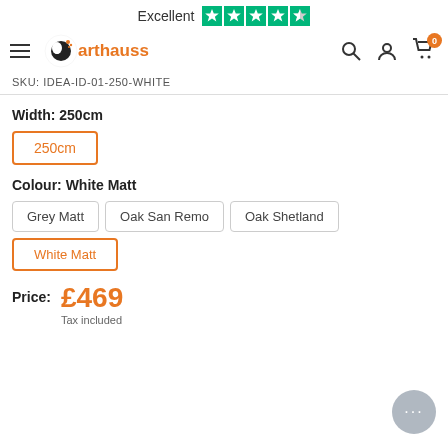Excellent ★★★★☆
[Figure (logo): Arthauss logo with navigation bar including hamburger menu, search, account, and cart icons]
SKU: IDEA-ID-01-250-WHITE
Width: 250cm
250cm (selected option button)
Colour: White Matt
Grey Matt | Oak San Remo | Oak Shetland | White Matt (selected)
Price: £469 Tax included